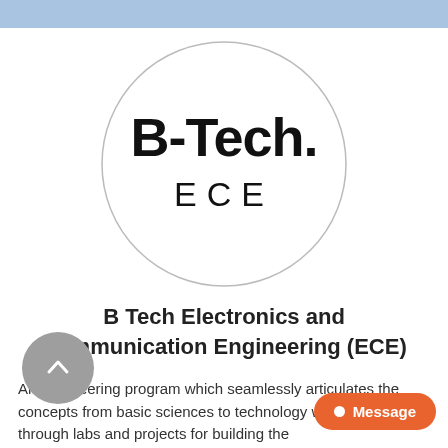[Figure (logo): Circular logo with 'B-Tech.' in bold and 'ECE' in spaced capitals below, inside a thin circle outline]
B Tech Electronics and Communication Engineering (ECE)
An Engineering program which seamlessly articulates the concepts from basic sciences to technology with practice through labs and projects for building the